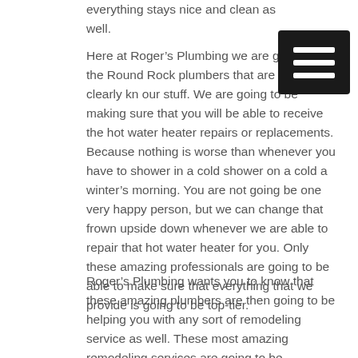everything stays nice and clean as well.
Here at Roger’s Plumbing we are going to be the Round Rock plumbers that are going to clearly know our stuff. We are going to be making sure that you will be able to receive the hot water heater repairs or replacements. Because nothing is worse than whenever you have to shower in a cold shower on a cold a winter’s morning. You are not going be one very happy person, but we can change that frown upside down whenever we are able to repair that hot water heater for you. Only these amazing professionals are going to be able to make sure that everything that we provide is going to be top-tier.
Roger’s Plumbing wants you to know that these amazing plumbers are then going to be helping you with any sort of remodeling service as well. These most amazing remodeling services are going to be